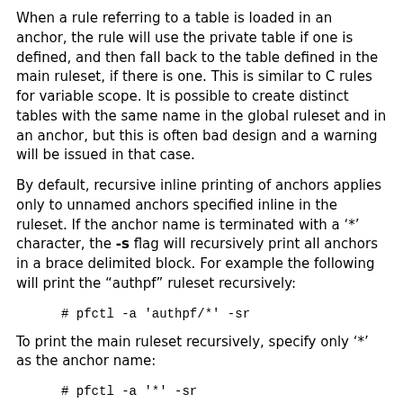When a rule referring to a table is loaded in an anchor, the rule will use the private table if one is defined, and then fall back to the table defined in the main ruleset, if there is one. This is similar to C rules for variable scope. It is possible to create distinct tables with the same name in the global ruleset and in an anchor, but this is often bad design and a warning will be issued in that case.
By default, recursive inline printing of anchors applies only to unnamed anchors specified inline in the ruleset. If the anchor name is terminated with a '*' character, the -s flag will recursively print all anchors in a brace delimited block. For example the following will print the "authpf" ruleset recursively:
# pfctl -a 'authpf/*' -sr
To print the main ruleset recursively, specify only '*' as the anchor name:
# pfctl -a '*' -sr
To flush all rulesets and tables recursively, specify only '*' as the anchor name: